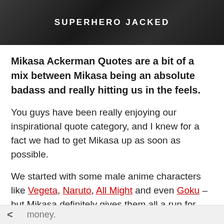SUPERHERO JACKED
Mikasa Ackerman Quotes are a bit of a mix between Mikasa being an absolute badass and really hitting us in the feels.
You guys have been really enjoying our inspirational quote category, and I knew for a fact we had to get Mikasa up as soon as possible.
We started with some male anime characters like Vegeta, Naruto, All Might and even Goku – but Mikasa definitely gives them all a run for their money.